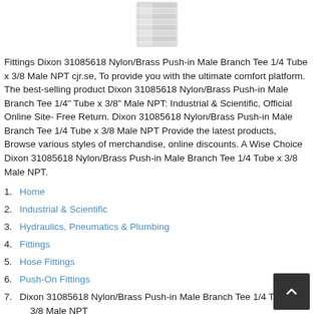[Figure (photo): Product image of Dixon Nylon/Brass Push-in Male Branch Tee fitting, showing a white/silver threaded fitting at the top of the page.]
Fittings Dixon 31085618 Nylon/Brass Push-in Male Branch Tee 1/4 Tube x 3/8 Male NPT cjr.se, To provide you with the ultimate comfort platform. The best-selling product Dixon 31085618 Nylon/Brass Push-in Male Branch Tee 1/4" Tube x 3/8" Male NPT: Industrial & Scientific, Official Online Site- Free Return. Dixon 31085618 Nylon/Brass Push-in Male Branch Tee 1/4 Tube x 3/8 Male NPT Provide the latest products, Browse various styles of merchandise, online discounts. A Wise Choice Dixon 31085618 Nylon/Brass Push-in Male Branch Tee 1/4 Tube x 3/8 Male NPT.
1. Home
2. Industrial & Scientific
3. Hydraulics, Pneumatics & Plumbing
4. Fittings
5. Hose Fittings
6. Push-On Fittings
7. Dixon 31085618 Nylon/Brass Push-in Male Branch Tee 1/4 Tube x 3/8 Male NPT